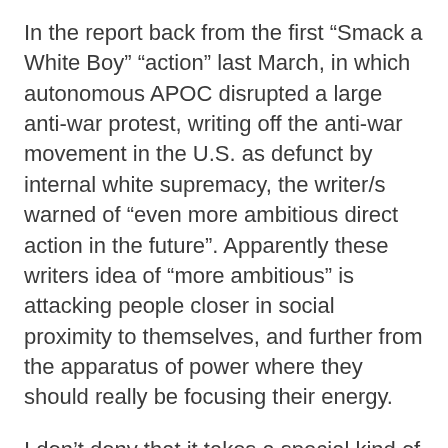In the report back from the first “Smack a White Boy” “action” last March, in which autonomous APOC disrupted a large anti-war protest, writing off the anti-war movement in the U.S. as defunct by internal white supremacy, the writer/s warned of “even more ambitious direct action in the future”. Apparently these writers idea of “more ambitious” is attacking people closer in social proximity to themselves, and further from the apparatus of power where they should really be focusing their energy.
I don’t deny that it takes a special kind of audacity to walk into a room of over a hundred people trying to have a good time, and in the dead of seriousness, begin screaming your head off at them, but I do not call this brave. In truth, the crimethinc. convergence